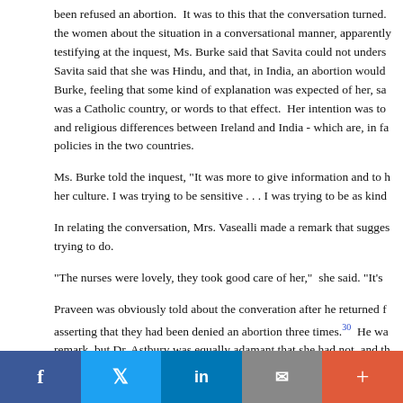been refused an abortion. It was to this that the conversation turned. the women about the situation in a conversational manner, apparently testifying at the inquest, Ms. Burke said that Savita could not understand. Savita said that she was Hindu, and that, in India, an abortion would. Burke, feeling that some kind of explanation was expected of her, said was a Catholic country, or words to that effect. Her intention was to and religious differences between Ireland and India - which are, in fact, policies in the two countries.
Ms. Burke told the inquest, "It was more to give information and to her culture. I was trying to be sensitive . . . I was trying to be as kind
In relating the conversation, Mrs. Vasealli made a remark that suggested trying to do.
"The nurses were lovely, they took good care of her," she said. "It's
Praveen was obviously told about the converation after he returned, asserting that they had been denied an abortion three times.30 He was remark, but Dr. Astbury was equally adamant that she had not, and that once, when Praveen was not present.31
1900 (7:00 pm)